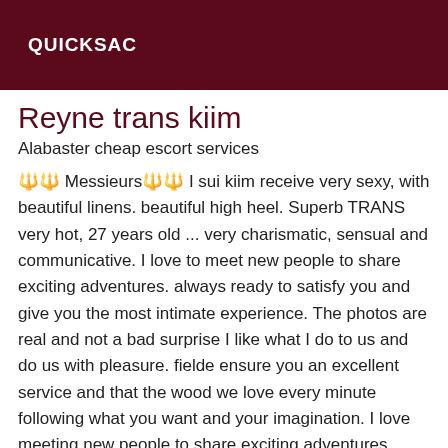QUICKSAC
Reyne trans kiim
Alabaster cheap escort services
🔱🔱 Messieurs🔱🔱 I sui kiim receive very sexy, with beautiful linens. beautiful high heel. Superb TRANS very hot, 27 years old ... very charismatic, sensual and communicative. I love to meet new people to share exciting adventures. always ready to satisfy you and give you the most intimate experience. The photos are real and not a bad surprise I like what I do to us and do us with pleasure. fielde ensure you an excellent service and that the wood we love every minute following what you want and your imagination. I love meeting new people to share exciting adventures together. us without two sensual and charming courtesan, with beautiful shapes and soft skin ! Beautiful independent tranny, without restrictions, I like to meet gallant men, refined and respectful, intelligent, with humor, hates vulgarity